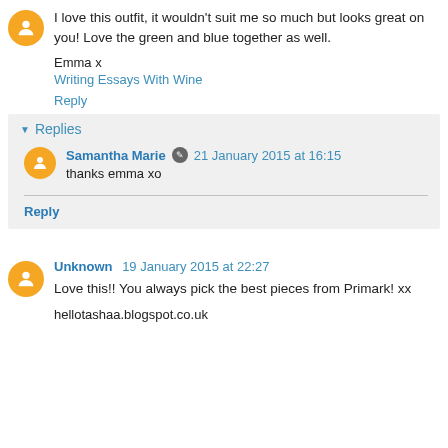I love this outfit, it wouldn't suit me so much but looks great on you! Love the green and blue together as well.
Emma x
Writing Essays With Wine
Reply
Replies
Samantha Marie  21 January 2015 at 16:15
thanks emma xo
Reply
Unknown  19 January 2015 at 22:27
Love this!! You always pick the best pieces from Primark! xx
hellotashaa.blogspot.co.uk